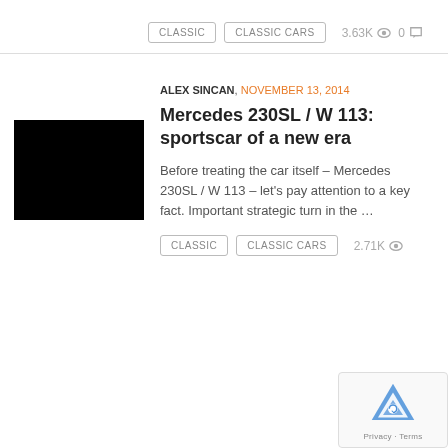CLASSIC   CLASSIC CARS   3.63K 👁  0 💬
[Figure (photo): Black thumbnail image for article]
ALEX SINCAN, NOVEMBER 13, 2014
Mercedes 230SL / W 113: sportscar of a new era
Before treating the car itself – Mercedes 230SL / W 113 – let's pay attention to a key fact. Important strategic turn in the …
CLASSIC   CLASSIC CARS   2.71K 👁